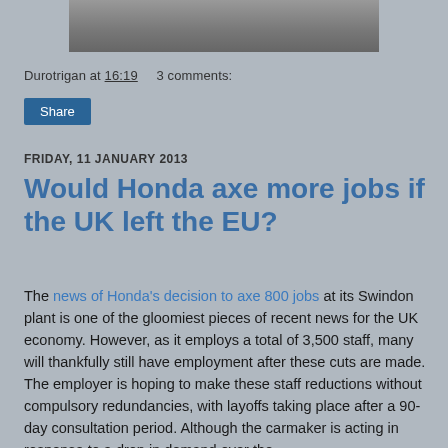[Figure (photo): Partial view of cars in a parking lot, bottom portion of photo visible at top of page]
Durotrigan at 16:19   3 comments:
Share
FRIDAY, 11 JANUARY 2013
Would Honda axe more jobs if the UK left the EU?
The news of Honda's decision to axe 800 jobs at its Swindon plant is one of the gloomiest pieces of recent news for the UK economy. However, as it employs a total of 3,500 staff, many will thankfully still have employment after these cuts are made. The employer is hoping to make these staff reductions without compulsory redundancies, with layoffs taking place after a 90-day consultation period. Although the carmaker is acting in response to a drop in demand over the